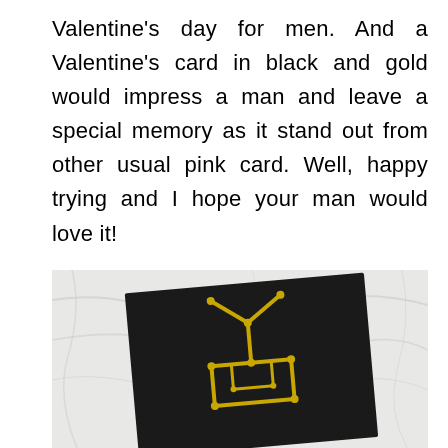Valentine's day for men. And a Valentine's card in black and gold would impress a man and leave a special memory as it stand out from other usual pink card. Well, happy trying and I hope your man would love it!
[Figure (photo): A black Valentine's card with a yellow/gold geometric design on it, placed at an angle on a white marble surface.]